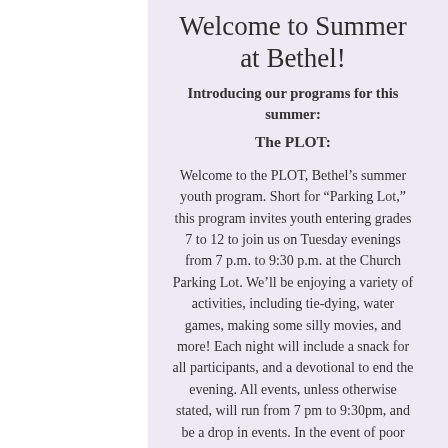Welcome to Summer at Bethel!
Introducing our programs for this summer:
The PLOT:
Welcome to the PLOT, Bethel’s summer youth program. Short for “Parking Lot,” this program invites youth entering grades 7 to 12 to join us on Tuesday evenings from 7 p.m. to 9:30 p.m. at the Church Parking Lot. We’ll be enjoying a variety of activities, including tie-dying, water games, making some silly movies, and more! Each night will include a snack for all participants, and a devotional to end the evening. All events, unless otherwise stated, will run from 7 pm to 9:30pm, and be a drop in events. In the event of poor weather, we’ll move into the church and